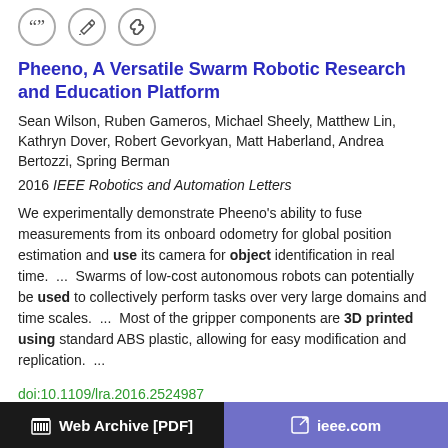[Figure (other): Three icon buttons: quote, edit/pencil, and link/chain]
Pheeno, A Versatile Swarm Robotic Research and Education Platform
Sean Wilson, Ruben Gameros, Michael Sheely, Matthew Lin, Kathryn Dover, Robert Gevorkyan, Matt Haberland, Andrea Bertozzi, Spring Berman
2016 IEEE Robotics and Automation Letters
We experimentally demonstrate Pheeno's ability to fuse measurements from its onboard odometry for global position estimation and use its camera for object identification in real time.  ...  Swarms of low-cost autonomous robots can potentially be used to collectively perform tasks over very large domains and time scales.  ...  Most of the gripper components are 3D printed using standard ABS plastic, allowing for easy modification and replication.  ...
doi:10.1109/lra.2016.2524987
dblp:journals/ral/WilsonGSLDGHBB16
fatcat:mbmfhr34tfde3i4akg2qqtngcq
Web Archive [PDF]   ieee.com